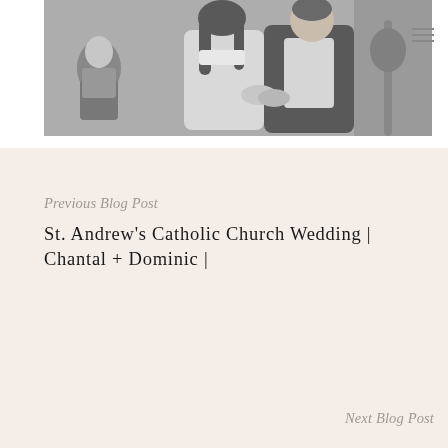[Figure (photo): Black and white photo of a couple smiling and holding hands, with a man sitting in the background on the left and a guitar visible on the right.]
Previous Blog Post
St. Andrew's Catholic Church Wedding | Chantal + Dominic |
Next Blog Post